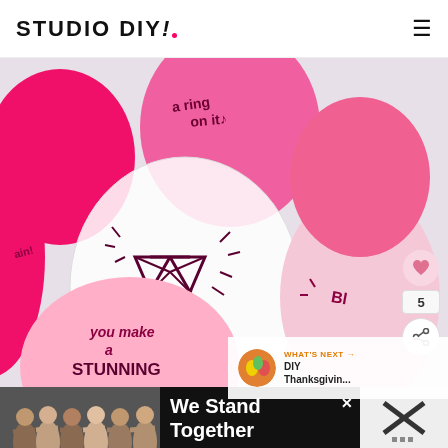STUDIO DIY!
[Figure (photo): Colorful pink and white balloons with handwritten text and drawings. One balloon has a diamond ring drawing. Text on balloons includes 'a ring on it', 'you make a STUNNING', and other partially visible phrases. Balloons are pink, hot pink, light pink, and white.]
WHAT'S NEXT → DIY Thanksgivin...
[Figure (photo): Advertisement banner at the bottom: group of people seen from behind with arms around each other, with text 'We Stand Together' on dark background. An X close button and a logo mark are visible on the right.]